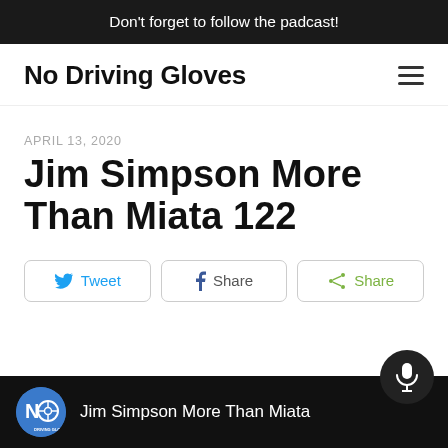Don't forget to follow the padcast!
No Driving Gloves
APRIL 13, 2020
Jim Simpson More Than Miata 122
Tweet | Share | Share
[Figure (screenshot): Podcast player bar with No Driving Gloves logo and text 'Jim Simpson More Than Miata']